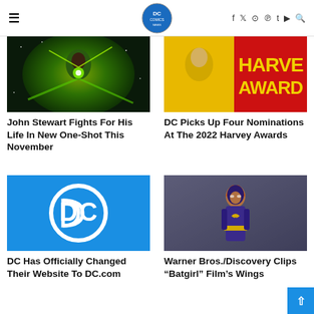DC Comics News
[Figure (photo): John Stewart Green Lantern comic art, glowing green energy]
John Stewart Fights For His Life In New One-Shot This November
[Figure (photo): Harvey Awards banner with yellow and red colors]
DC Picks Up Four Nominations At The 2022 Harvey Awards
[Figure (logo): DC Comics logo on blue background]
DC Has Officially Changed Their Website To DC.com
[Figure (photo): Batgirl actress in purple costume]
Warner Bros./Discovery Clips "Batgirl" Film's Wings